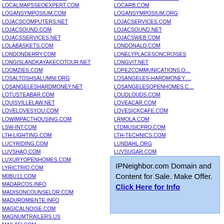LOCALMAPSSEOEXPERT.COM
LOGANSYMPOSIUM.COM
LOJACSCOMPUTERS.NET
LOJACSOUND.COM
LOJACSSERVICES.NET
LOLABASKETS.COM
LONDONDERRY.COM
LONGISLANDKAYAKECOTOUR.NET
LOOMZIES.COM
LOSALTOSHSALUMNI.ORG
LOSANGELESHARDMONEY.NET
LOTUSTEABAR.COM
LOUISVILLELAW.NET
LOVELOVESYOU.COM
LOWIMPACTHOUSING.COM
LSW-INT.COM
LTH-LIGHTING.COM
LUCYRIDING.COM
LUVSHAQ.COM
LUXURYOPENHOMES.COM
LYRICTRIO.COM
M0BU11.COM
MADARCOS.INFO
MADISONCOUNSELOR.COM
MADUROMIENTE.INFO
MAGICALNOISE.COM
MAGNUMTRAILERS.US
MAILAFI.COM
LOCARB.COM
LOGANSYMPOSIUM.ORG
LOJACSERVICES.COM
LOJACSOUND.NET
LOJACSWEB.COM
LONDONALD.COM
LONELYPLACESONCRUISES
LONGVIT.NET
LOPEZCOMMUNICATIONS.O…
LOSANGELES-HARDMONEY.…
LOSANGELESOPENHOMES.C…
LOUDLOUDS.COM
LOVEACAR.COM
LOVESICKCAFE.COM
LRMOLA.COM
LTDMUSICPRO.COM
LTH-TECHNICS.COM
LUNDAHL.ORG
LUVSUGAR.COM
LUXURYOPENHOUSES.COM
LYTTONPARKLISTINGS.COM
M0BULL.COM
MADHUCOACH.COM
IPNeighbor.com Domain and Content for Sale. Make Offer. Click Here for Info